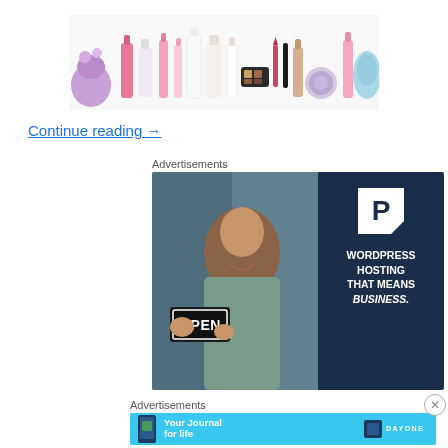[Figure (photo): Product photo showing various beauty and cosmetics products including bottles, creams, makeup items arranged on a white background]
Continue reading →
Advertisements
[Figure (photo): Advertisement for WordPress Hosting featuring a smiling woman holding an OPEN sign on the left and text 'WORDPRESS HOSTING THAT MEANS BUSINESS.' with a P logo on dark navy background]
Advertisements
[Figure (illustration): Advertisement for Day One app - 'Your Journal for life' with cyan/light blue background, phone mockup on left and Day One logo on right]